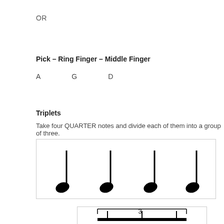OR
Pick – Ring Finger – Middle Finger
A    G    D
Triplets
Take four QUARTER notes and divide each of them into a group of three.
[Figure (illustration): Four quarter music notes displayed in a row inside a bordered box]
[Figure (illustration): Triplet notation bracket with number 3 and a beamed group of eighth notes at the bottom of the page]